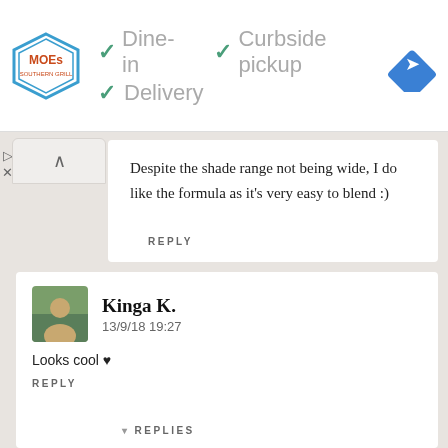[Figure (infographic): Ad banner: Moe's restaurant logo on left, checkmarks for Dine-in, Curbside pickup, Delivery, and a blue navigation icon on right]
Despite the shade range not being wide, I do like the formula as it's very easy to blend :)
REPLY
Kinga K.
13/9/18 19:27
Looks cool ♥
REPLY
▾ REPLIES